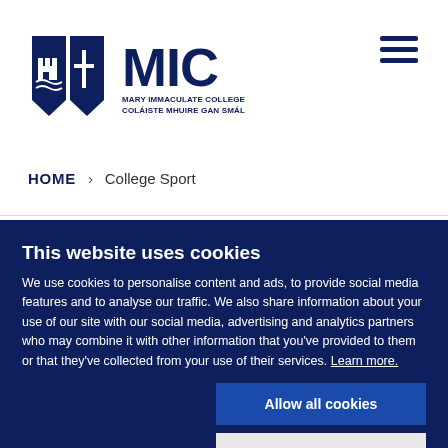[Figure (logo): Mary Immaculate College (MIC) logo with shield emblem and text 'MARY IMMACULATE COLLEGE / COLÁISTE MHUIRE GAN SMÁL']
HOME > College Sport
This website uses cookies
We use cookies to personalise content and ads, to provide social media features and to analyse our traffic. We also share information about your use of our site with our social media, advertising and analytics partners who may combine it with other information that you've provided to them or that they've collected from your use of their services. Learn more.
Allow all cookies
Allow selection